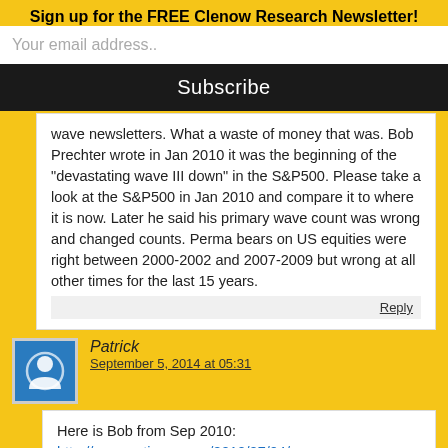Sign up for the FREE Clenow Research Newsletter!
Your email address..
Subscribe
wave newsletters. What a waste of money that was. Bob Prechter wrote in Jan 2010 it was the beginning of the "devastating wave III down" in the S&P500. Please take a look at the S&P500 in Jan 2010 and compare it to where it is now. Later he said his primary wave count was wrong and changed counts. Perma bears on US equities were right between 2000-2002 and 2007-2009 but wrong at all other times for the last 15 years.
Reply
Patrick
September 5, 2014 at 05:31
Here is Bob from Sep 2010: http://www.nytimes.com/2010/07/04/your-money/04stra.html?pagewanted=all&_r=1&amp;